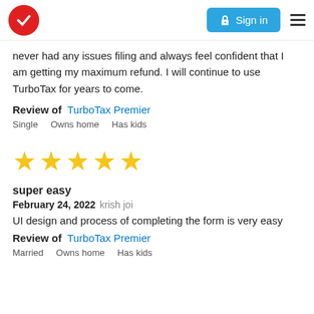TurboTax logo | Sign in | Menu
never had any issues filing and always feel confident that I am getting my maximum refund. I will continue to use TurboTax for years to come.
Review of  TurboTax Premier
Single    Owns home    Has kids
[Figure (other): Five gold star rating icons]
super easy
February 24, 2022 krish joi
UI design and process of completing the form is very easy
Review of  TurboTax Premier
Married    Owns home    Has kids